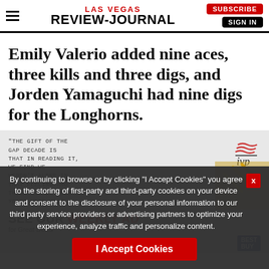LAS VEGAS REVIEW-JOURNAL
Emily Valerio added nine aces, three kills and three digs, and Jorden Yamaguchi had nine digs for the Longhorns.
[Figure (screenshot): Partial advertisement with a quote text block and IVP logo, partially obscured by cookie consent overlay]
By continuing to browse or by clicking "I Accept Cookies" you agree to the storing of first-party and third-party cookies on your device and consent to the disclosure of your personal information to our third party service providers or advertising partners to optimize your experience, analyze traffic and personalize content.
SEE OUR WEEKLY AD
for Great Deals